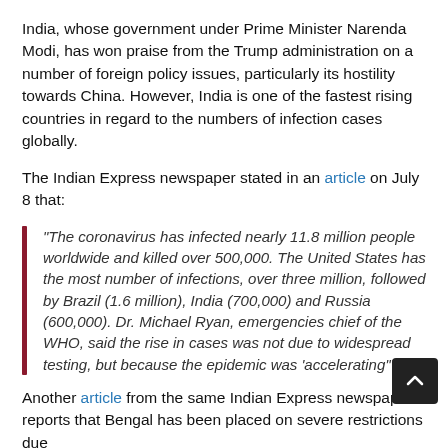India, whose government under Prime Minister Narenda Modi, has won praise from the Trump administration on a number of foreign policy issues, particularly its hostility towards China. However, India is one of the fastest rising countries in regard to the numbers of infection cases globally.
The Indian Express newspaper stated in an article on July 8 that:
“The coronavirus has infected nearly 11.8 million people worldwide and killed over 500,000. The United States has the most number of infections, over three million, followed by Brazil (1.6 million), India (700,000) and Russia (600,000). Dr. Michael Ryan, emergencies chief of the WHO, said the rise in cases was not due to widespread testing, but because the epidemic was ‘accelerating’”
Another article from the same Indian Express newspaper reports that Bengal has been placed on severe restrictions due